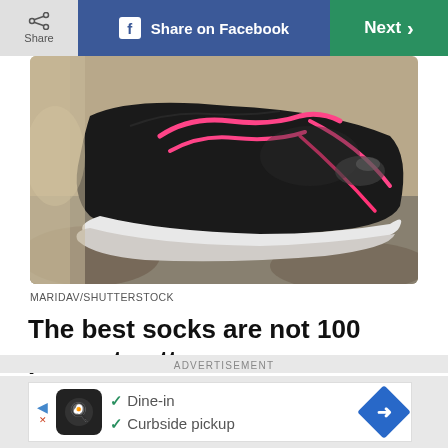Share | Share on Facebook | Next >
[Figure (photo): Close-up photo of a black athletic sneaker with pink laces on a rocky surface. The shoe has a white sole.]
MARIDAV/SHUTTERSTOCK
The best socks are not 100 percent cotton
Look for materials that promise to wick moisture away.—Dr. Andersen
ADVERTISEMENT
[Figure (screenshot): Advertisement banner: Dine-in, Curbside pickup options with a restaurant logo icon and navigation arrow.]